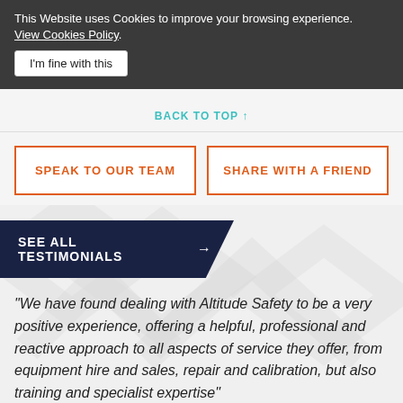This Website uses Cookies to improve your browsing experience. View Cookies Policy.
I'm fine with this
BACK TO TOP ↑
SPEAK TO OUR TEAM
SHARE WITH A FRIEND
SEE ALL TESTIMONIALS →
“We have found dealing with Altitude Safety to be a very positive experience, offering a helpful, professional and reactive approach to all aspects of service they offer, from equipment hire and sales, repair and calibration, but also training and specialist expertise”